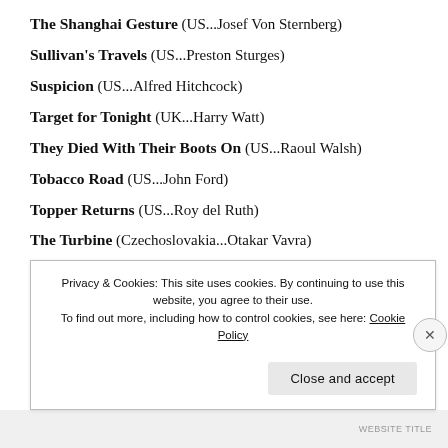The Shanghai Gesture (US...Josef Von Sternberg)
Sullivan's Travels (US...Preston Sturges)
Suspicion (US...Alfred Hitchcock)
Target for Tonight (UK...Harry Watt)
They Died With Their Boots On (US...Raoul Walsh)
Tobacco Road (US...John Ford)
Topper Returns (US...Roy del Ruth)
The Turbine (Czechoslovakia...Otakar Vavra)
Vénus Aveugle (France...Abel Gance)
Privacy & Cookies: This site uses cookies. By continuing to use this website, you agree to their use. To find out more, including how to control cookies, see here: Cookie Policy
WEBSITE TITLE